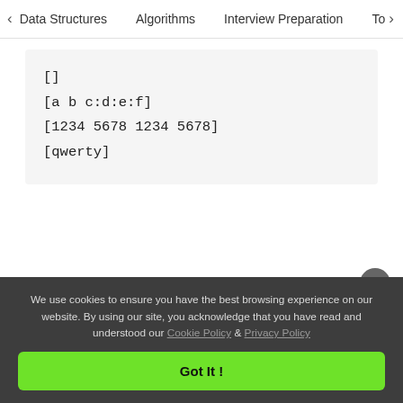< Data Structures   Algorithms   Interview Preparation   To>
[]
[a b c:d:e:f]
[1234 5678 1234 5678]
[qwerty]
[Figure (infographic): GeeksforGeeks ad banner: MASTER CODING WITH GG logo. Daily Problem Of The Day | Weekly Interview Series | Curated Practice Sheets. Start Learning button.]
We use cookies to ensure you have the best browsing experience on our website. By using our site, you acknowledge that you have read and understood our Cookie Policy & Privacy Policy
Got It !